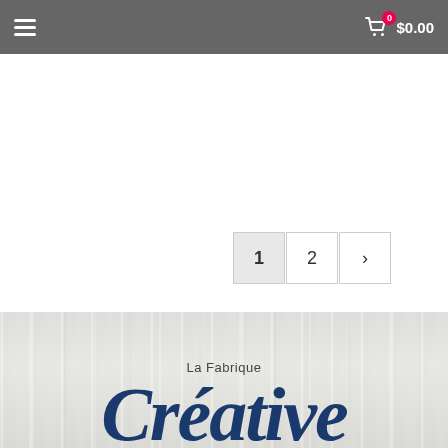☰  $0.00
1
2
›
[Figure (logo): La Fabrique Créative logo — cursive dark blue script text on a light wood-grain background]